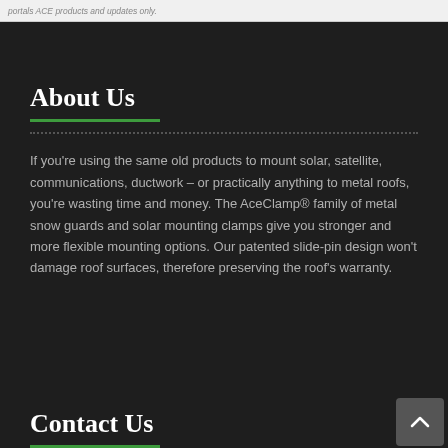portals ACE products and updates only.
About Us
If you're using the same old products to mount solar, satellite, communications, ductwork – or practically anything to metal roofs, you're wasting time and money. The AceClamp® family of metal snow guards and solar mounting clamps give you stronger and more flexible mounting options. Our patented slide-pin design won't damage roof surfaces, therefore preserving the roof's warranty.
Contact Us